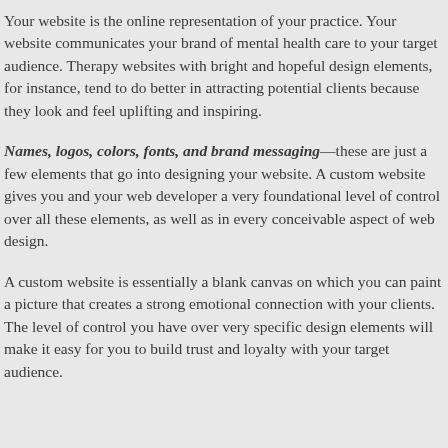Your website is the online representation of your practice. Your website communicates your brand of mental health care to your target audience. Therapy websites with bright and hopeful design elements, for instance, tend to do better in attracting potential clients because they look and feel uplifting and inspiring.
Names, logos, colors, fonts, and brand messaging—these are just a few elements that go into designing your website. A custom website gives you and your web developer a very foundational level of control over all these elements, as well as in every conceivable aspect of web design.
A custom website is essentially a blank canvas on which you can paint a picture that creates a strong emotional connection with your clients. The level of control you have over very specific design elements will make it easy for you to build trust and loyalty with your target audience.